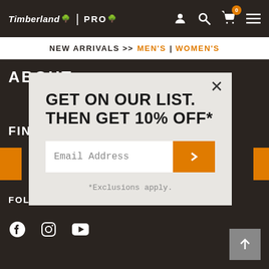Timberland PRO - Header navigation bar
NEW ARRIVALS >> MEN'S | WOMEN'S
ABOUT
FIND A
GET ON OUR LIST. THEN GET 10% OFF*
Email Address
*Exclusions apply.
FOLLOW TIMBERLAND PRO®
[Figure (screenshot): Social media icons: Facebook, Instagram, YouTube]